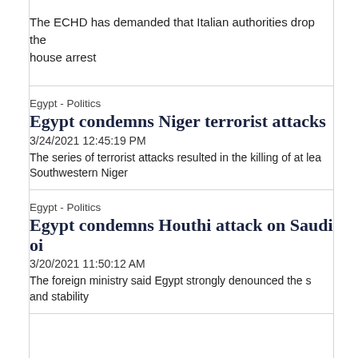The ECHD has demanded that Italian authorities drop the house arrest
Egypt - Politics
Egypt condemns Niger terrorist attacks
3/24/2021 12:45:19 PM
The series of terrorist attacks resulted in the killing of at least Southwestern Niger
Egypt - Politics
Egypt condemns Houthi attack on Saudi oi
3/20/2021 11:50:12 AM
The foreign ministry said Egypt strongly denounced the s and stability